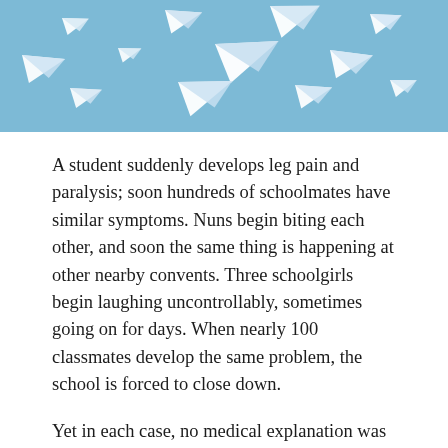[Figure (photo): Photo of multiple white paper airplanes flying against a light blue sky background]
A student suddenly develops leg pain and paralysis; soon hundreds of schoolmates have similar symptoms. Nuns begin biting each other, and soon the same thing is happening at other nearby convents. Three schoolgirls begin laughing uncontrollably, sometimes going on for days. When nearly 100 classmates develop the same problem, the school is forced to close down.
Yet in each case, no medical explanation was ever found. Eventually, these came to be considered examples of mass sociogenic illness, which many of us know by different names: mass hysteria, epidemic hysteria, or mass psychogenic illness. Over the years, many possible sources for these illnesses have emerged — and today TikTok and